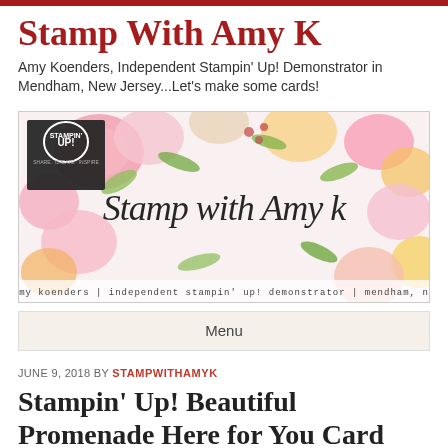Stamp With Amy K
Amy Koenders, Independent Stampin' Up! Demonstrator in Mendham, New Jersey...Let's make some cards!
[Figure (illustration): Banner image for 'Stamp with Amy K' blog featuring colorful watercolor flowers (pinks, yellows, greens) and Stampin' Up! logo in top left. Cursive 'Stamp with Amy k' text overlaid in dark ink. Footer text: amy koenders | independent stampin' up! demonstrator | mendham, nj]
Menu
JUNE 9, 2018 BY STAMPWITHAMYK
Stampin' Up! Beautiful Promenade Here for You Card